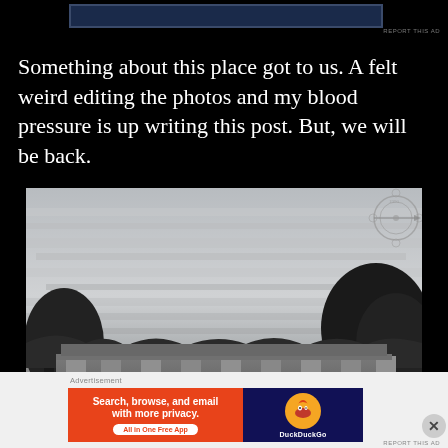REPORT THIS AD
Something about this place got to us. A felt weird editing the photos and my blood pressure is up writing this post. But, we will be back.
[Figure (photo): Black and white photograph of an abandoned building exterior with graffiti on the walls, overgrown with vegetation, and a cloudy sky above]
Advertisement
[Figure (screenshot): DuckDuckGo advertisement banner: orange section reads 'Search, browse, and email with more privacy. All in One Free App', dark blue section shows DuckDuckGo logo]